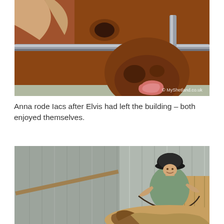[Figure (photo): Close-up photograph of a brown/chestnut Shetland pony sticking out its tongue through a metal gate rail, with watermark '© MyShetland.co.uk' in lower right corner.]
Anna rode Iacs after Elvis had left the building – both enjoyed themselves.
[Figure (photo): A woman wearing a black riding helmet and green short-sleeve shirt riding a small pony inside a metal barn/indoor arena, holding reins.]